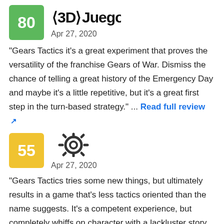[Figure (logo): 3DJuegos outlet logo with score badge 80 in green]
Apr 27, 2020
"Gears Tactics it's a great experiment that proves the versatility of the franchise Gears of War. Dismiss the chance of telling a great history of the Emergency Day and maybe it's a little repetitive, but it's a great first step in the turn-based strategy." ... Read full review
[Figure (logo): COG outlet logo with score badge 55 in yellow]
Apr 27, 2020
"Gears Tactics tries some new things, but ultimately results in a game that's less tactics oriented than the name suggests. It's a competent experience, but completely whiffs on character with a lackluster story and every tool is a hammer class design. Add in repetitive mission structure and Gears Tactics is a far sight less replayable than the giants of the genre." ... Read full review